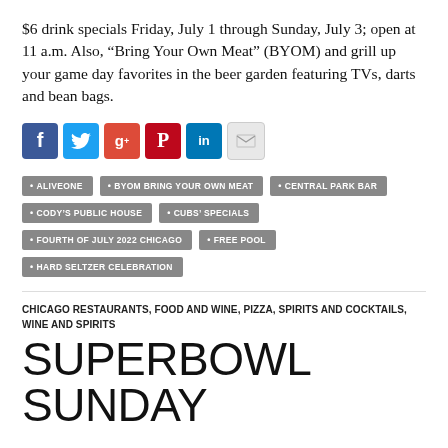$6 drink specials Friday, July 1 through Sunday, July 3; open at 11 a.m. Also, “Bring Your Own Meat” (BYOM) and grill up your game day favorites in the beer garden featuring TVs, darts and bean bags.
[Figure (other): Social media sharing icons: Facebook, Twitter, Google+, Pinterest, LinkedIn, Email]
ALIVEONE
BYOM BRING YOUR OWN MEAT
CENTRAL PARK BAR
CODY’S PUBLIC HOUSE
CUBS’ SPECIALS
FOURTH OF JULY 2022 CHICAGO
FREE POOL
HARD SELTZER CELEBRATION
CHICAGO RESTAURANTS, FOOD AND WINE, PIZZA, SPIRITS AND COCKTAILS, WINE AND SPIRITS
SUPERBOWL SUNDAY